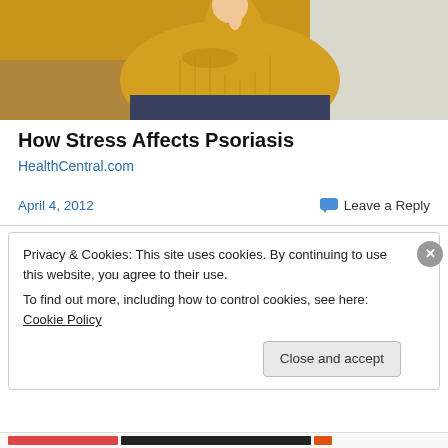[Figure (photo): Person in a yellow sweater sitting on a couch, scratching their wrist/hand — illustrating stress and psoriasis]
How Stress Affects Psoriasis
HealthCentral.com
April 4, 2012
Leave a Reply
Privacy & Cookies: This site uses cookies. By continuing to use this website, you agree to their use.
To find out more, including how to control cookies, see here: Cookie Policy
Close and accept